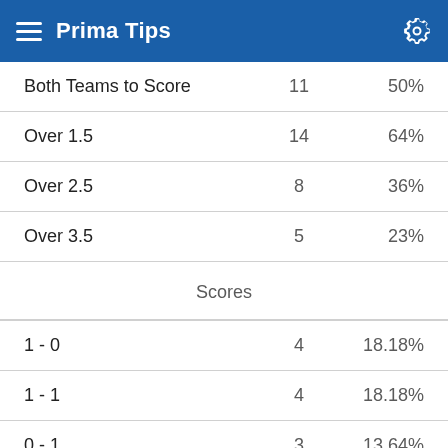Prima Tips
|  |  |  |
| --- | --- | --- |
| Both Teams to Score | 11 | 50% |
| Over 1.5 | 14 | 64% |
| Over 2.5 | 8 | 36% |
| Over 3.5 | 5 | 23% |
Scores
|  |  |  |
| --- | --- | --- |
| 1 - 0 | 4 | 18.18% |
| 1 - 1 | 4 | 18.18% |
| 0 - 1 | 3 | 13.64% |
| 2 - 1 | 2 | 9.09% |
| 2 - 2 | 2 | 9.09% |